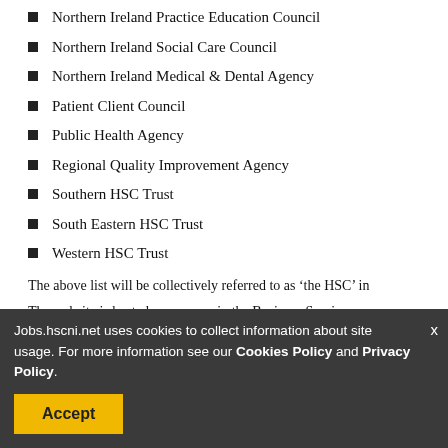Northern Ireland Practice Education Council
Northern Ireland Social Care Council
Northern Ireland Medical & Dental Agency
Patient Client Council
Public Health Agency
Regional Quality Improvement Agency
Southern HSC Trust
South Eastern HSC Trust
Western HSC Trust
The above list will be collectively referred to as ‘the HSC’ in th
The website is hosted on a server in the Business Services Organisation (BSO) and links directly to a recruitment
Jobs.hscni.net uses cookies to collect information about site usage. For more information see our Cookies Policy and Privacy Policy.